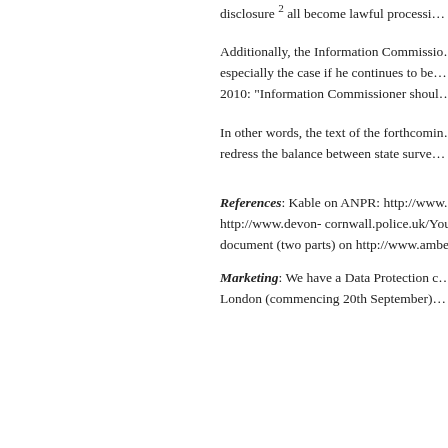disclosure 2 all become lawful processing...
Additionally, the Information Commissioner has power to regulate these processing operations. This is especially the case if he continues to be given wider powers in relation to lawful processing (see e.g. CMLR 2010: "Information Commissioner should protect privacy rights").
In other words, the text of the forthcoming Bill will be an early test of this Government's claim that it will redress the balance between state surveillance and privacy.
References: Kable on ANPR: http://www... anpr-data-centre-police-acpo-03feb10.All http://www.devon-cornwall.police.uk/YourRightInformation/... Nine Principles document (two parts) on http://www.amberhawk.com/policydoc.as
Marketing: We have a Data Protection conference in Manchester late September. Our next ... London (commencing 20th September)...